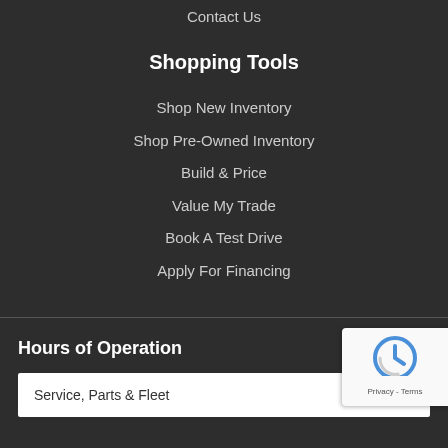Contact Us
Shopping Tools
Shop New Inventory
Shop Pre-Owned Inventory
Build & Price
Value My Trade
Book A Test Drive
Apply For Financing
Hours of Operation
Service, Parts & Fleet